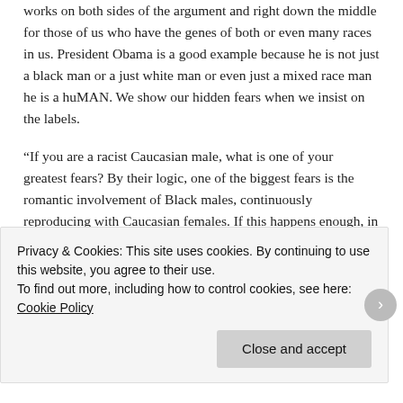works on both sides of the argument and right down the middle for those of us who have the genes of both or even many races in us. President Obama is a good example because he is not just a black man or a just white man or even just a mixed race man he is a huMAN. We show our hidden fears when we insist on the labels.
“If you are a racist Caucasian male, what is one of your greatest fears? By their logic, one of the biggest fears is the romantic involvement of Black males, continuously reproducing with Caucasian females. If this happens enough, in their eyes, it will end the White race.”
I was called to a meeting with two of my black staff (the color only matters because of what came next). These are not hateful people, they are friends. I’ve been in their
Privacy & Cookies: This site uses cookies. By continuing to use this website, you agree to their use.
To find out more, including how to control cookies, see here: Cookie Policy
Close and accept